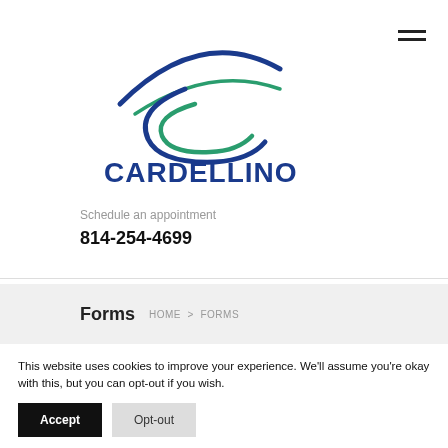[Figure (logo): Cardellino Eyecare logo with a stylized eye graphic above the text CARDELLINO eyecare]
Schedule an appointment
814-254-4699
Forms
HOME > FORMS
This website uses cookies to improve your experience. We'll assume you're okay with this, but you can opt-out if you wish.
Accept
Opt-out